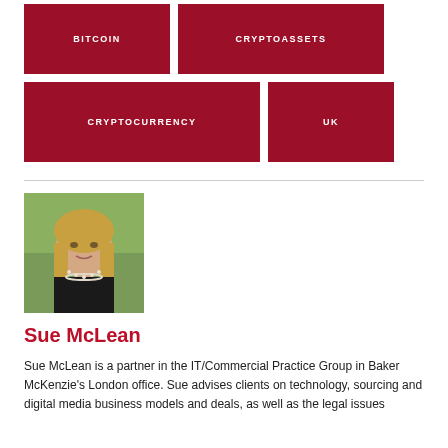BITCOIN
CRYPTOASSETS
CRYPTOCURRENCY
UK
[Figure (photo): Headshot of Sue McLean, a woman with blond hair wearing a black top and pearl necklace, with a green blurred background]
Sue McLean
Sue McLean is a partner in the IT/Commercial Practice Group in Baker McKenzie's London office. Sue advises clients on technology, sourcing and digital media business models and deals, as well as the legal issues